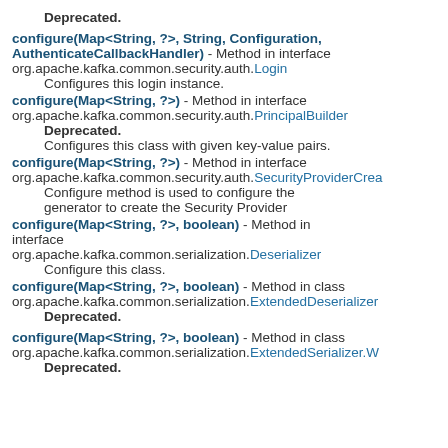Deprecated.
configure(Map<String, ?>, String, Configuration, AuthenticateCallbackHandler) - Method in interface org.apache.kafka.common.security.auth.Login
    Configures this login instance.
configure(Map<String, ?>) - Method in interface org.apache.kafka.common.security.auth.PrincipalBuilder
    Deprecated.
    Configures this class with given key-value pairs.
configure(Map<String, ?>) - Method in interface org.apache.kafka.common.security.auth.SecurityProviderCrea
    Configure method is used to configure the generator to create the Security Provider
configure(Map<String, ?>, boolean) - Method in interface org.apache.kafka.common.serialization.Deserializer
    Configure this class.
configure(Map<String, ?>, boolean) - Method in class org.apache.kafka.common.serialization.ExtendedDeserializer
    Deprecated.
configure(Map<String, ?>, boolean) - Method in class org.apache.kafka.common.serialization.ExtendedSerializer.W
    Deprecated.